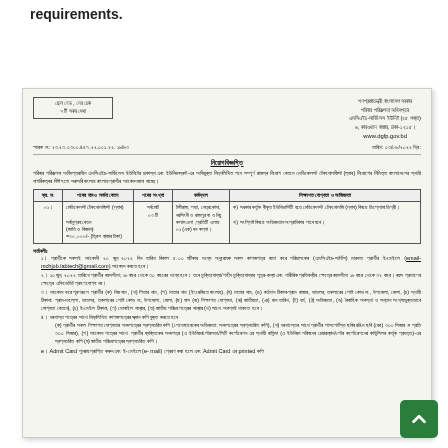requirements.
[Figure (screenshot): Scanned government document in Bengali from People's Republic of Bangladesh, Department of Family Planning, MCFAI-Services Unit (25 beds), 6 Karwan Bazar, Dhaka-1215, www.dgfp.gov.bd. Contains a job notice (নিয়োগ বিজ্ঞপ্তি) for Medical Technologist (Lab) position with table showing post details and numbered notes/instructions.]
Admit Card পুনরায় প্রাপ্তি করুন এবং ই-মেইলে (e- mail) প্রেরণ করা হলে এবং Admit Card এর printed কপি